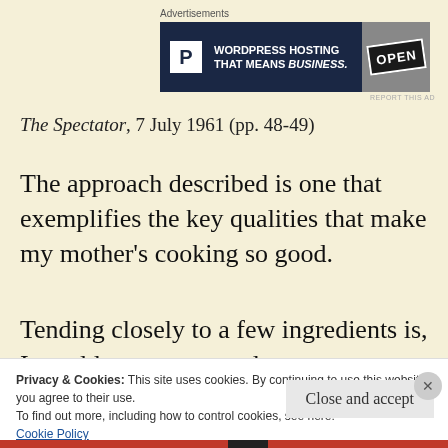[Figure (other): Advertisement banner: Pressable WordPress Hosting That Means Business, with OPEN sign photo]
The Spectator, 7 July 1961 (pp. 48-49)
The approach described is one that exemplifies the key qualities that make my mother’s cooking so good.
Tending closely to a few ingredients is, I would argue, a complex process. Complex,
Privacy & Cookies: This site uses cookies. By continuing to use this website, you agree to their use.
To find out more, including how to control cookies, see here:
Cookie Policy
Close and accept